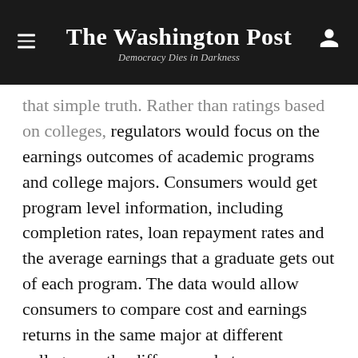The Washington Post — Democracy Dies in Darkness
that simple truth. Rather than ratings based on colleges, regulators would focus on the earnings outcomes of academic programs and college majors. Consumers would get program level information, including completion rates, loan repayment rates and the average earnings that a graduate gets out of each program. The data would allow consumers to compare cost and earnings returns in the same major at different colleges — the differences between an economics degree from Harvard University and one from the University of Massachusetts.